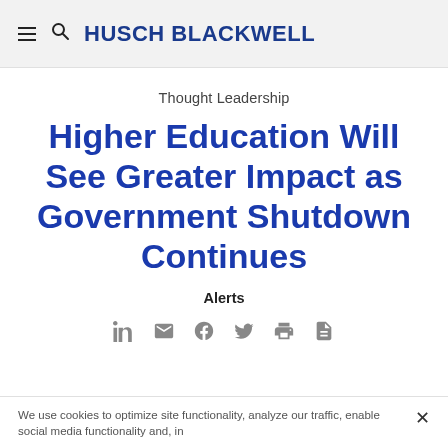HUSCH BLACKWELL
Thought Leadership
Higher Education Will See Greater Impact as Government Shutdown Continues
Alerts
[Figure (infographic): Social sharing icons: LinkedIn, email, Facebook, Twitter, print, PDF]
We use cookies to optimize site functionality, analyze our traffic, enable social media functionality and, in